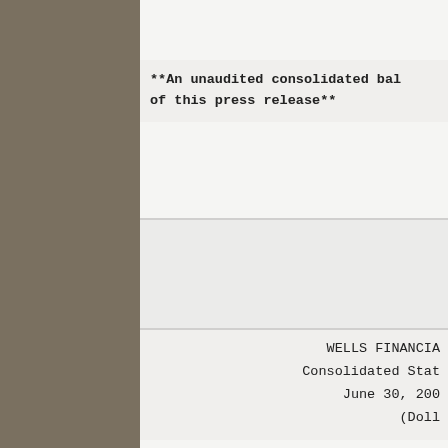**An unaudited consolidated bal of this press release**
WELLS FINANCIA
Consolidated Stat
June 30, 200
(Doll